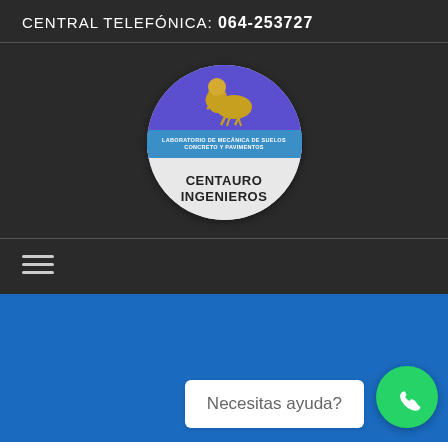CENTRAL TELEFÓNICA: 064-253727
[Figure (logo): Centauro Ingenieros circular logo with a centaur figure on purple background, blue band reading 'LABORATORIO DE MECÁNICA DE SUELOS CONCRETO Y PAVIMENTOS', and company name 'CENTAURO INGENIEROS' on white background]
≡ (hamburger menu icon)
Necesitas ayuda?